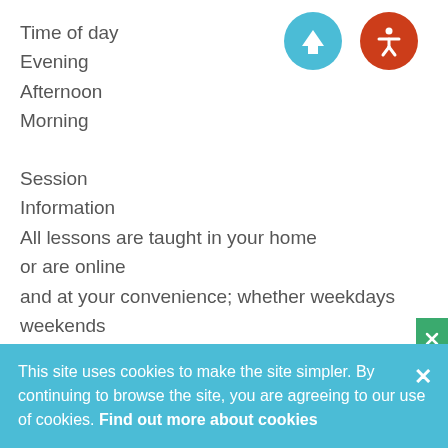Time of day
Evening
Afternoon
Morning
[Figure (illustration): Blue circle with white upward arrow icon, and orange/red circle with white accessibility icon]
Session Information
All lessons are taught in your home or are online and at your convenience; whether weekdays weekends evening or holiday periods.
Other Details
This site uses cookies to make the site simpler. By continuing to browse the site, you are agreeing to our use of cookies. Find out more about cookies